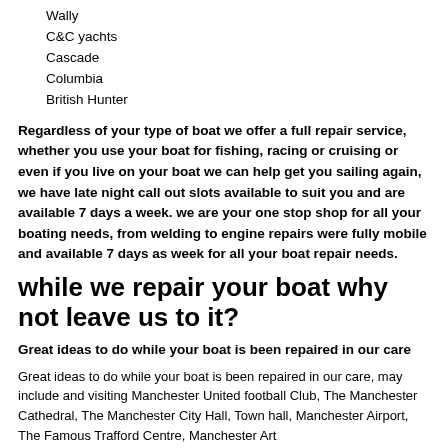Wally
C&C yachts
Cascade
Columbia
British Hunter
Regardless of your type of boat we offer a full repair service, whether you use your boat for fishing, racing or cruising or even if you live on your boat we can help get you sailing again, we have late night call out slots available to suit you and are available 7 days a week. we are your one stop shop for all your boating needs, from welding to engine repairs were fully mobile and available 7 days as week for all your boat repair needs.
while we repair your boat why not leave us to it?
Great ideas to do while your boat is been repaired in our care
Great ideas to do while your boat is been repaired in our care, may include and visiting Manchester United football Club, The Manchester Cathedral, The Manchester City Hall, Town hall, Manchester Airport, The Famous Trafford Centre, Manchester Art